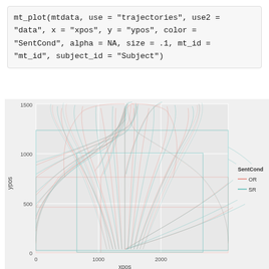mt_plot(mtdata, use = "trajectories", use2 = "data", x = "xpos", y = "ypos", color = "SentCond", alpha = NA, size = .1, mt_id = "mt_id", subject_id = "Subject")
[Figure (continuous-plot): Mouse-tracking trajectory plot showing xpos vs ypos for two conditions (SentCond): OR (salmon/pink lines) and SR (teal/cyan lines). Multiple overlapping trajectories are shown, with most concentrated in the lower-left region (x: 0-2000, y: 0-1500). A legend in the top-right shows SentCond with OR in pink and SR in teal.]